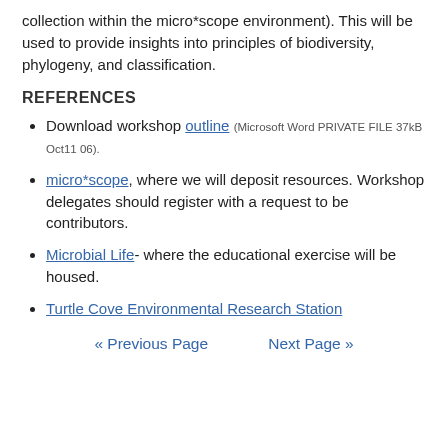collection within the micro*scope environment). This will be used to provide insights into principles of biodiversity, phylogeny, and classification.
REFERENCES
Download workshop outline (Microsoft Word PRIVATE FILE 37kB Oct11 06).
micro*scope, where we will deposit resources. Workshop delegates should register with a request to be contributors.
Microbial Life- where the educational exercise will be housed.
Turtle Cove Environmental Research Station
« Previous Page   Next Page »